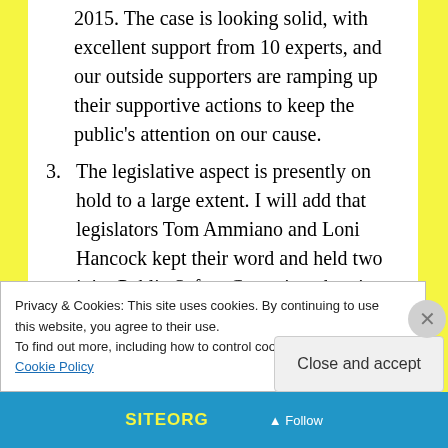2015. The case is looking solid, with excellent support from 10 experts, and our outside supporters are ramping up their supportive actions to keep the public's attention on our cause.
3. The legislative aspect is presently on hold to a large extent. I will add that legislators Tom Ammiano and Loni Hancock kept their word and held two joint Public Safety Committee hearings regarding our issues, in October 2013 and February 2014, and they each tried their best to get legislation
Privacy & Cookies: This site uses cookies. By continuing to use this website, you agree to their use.
To find out more, including how to control cookies, see here: Cookie Policy
Close and accept